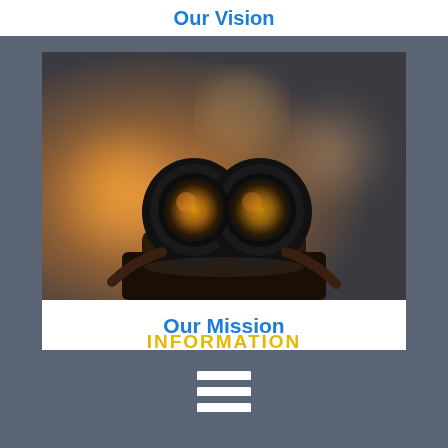Our Vision
[Figure (photo): Close-up photograph of black binoculars with amber lenses resting on a brown leather case, with a blurred warm bokeh background]
Our Mission
INFORMATION
[Figure (infographic): Three horizontal white bars representing a hamburger/menu icon]